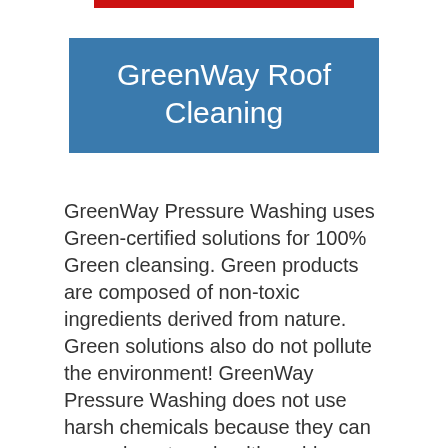GreenWay Roof Cleaning
GreenWay Pressure Washing uses Green-certified solutions for 100% Green cleansing. Green products are composed of non-toxic ingredients derived from nature. Green solutions also do not pollute the environment! GreenWay Pressure Washing does not use harsh chemicals because they can cause long-term health problems for you and your family. Green products are safe to be applied around children, pets, plants, or any other living organisms that you have at home.